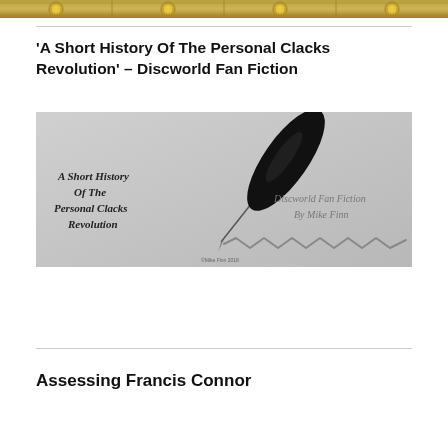[Figure (illustration): Top banner image showing decorative golden/brass colored elements on a dark background, partially cropped]
'A Short History Of The Personal Clacks Revolution' – Discworld Fan Fiction
[Figure (illustration): Book cover illustration showing a black quill feather pen writing on paper with a zigzag line, on a grey background. Text reads: 'A Short History Of The Personal Clacks Revolution' on the left and 'Discworld Fan Fiction By Mike Finn' on the right. Copyright Mike Finn 2018 at bottom.]
Assessing Francis Connor